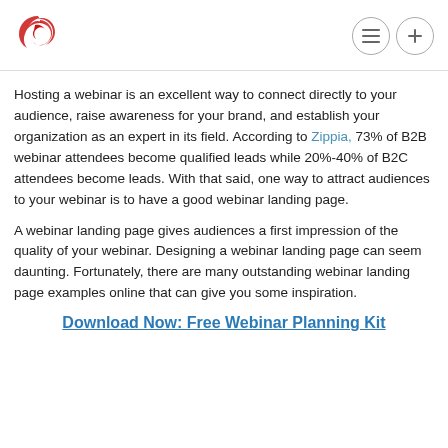[Logo and navigation icons]
Hosting a webinar is an excellent way to connect directly to your audience, raise awareness for your brand, and establish your organization as an expert in its field. According to Zippia, 73% of B2B webinar attendees become qualified leads while 20%-40% of B2C attendees become leads. With that said, one way to attract audiences to your webinar is to have a good webinar landing page.
A webinar landing page gives audiences a first impression of the quality of your webinar. Designing a webinar landing page can seem daunting. Fortunately, there are many outstanding webinar landing page examples online that can give you some inspiration.
Download Now: Free Webinar Planning Kit